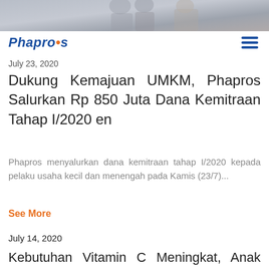[Figure (photo): Partial photo of people at top of page]
Phapros
July 23, 2020
Dukung Kemajuan UMKM, Phapros Salurkan Rp 850 Juta Dana Kemitraan Tahap I/2020 en
Phapros menyalurkan dana kemitraan tahap I/2020 kepada pelaku usaha kecil dan menengah pada Kamis (23/7)...
See More
July 14, 2020
Kebutuhan Vitamin C Meningkat, Anak Usaha Phapros Luncurkan Merzavit C en